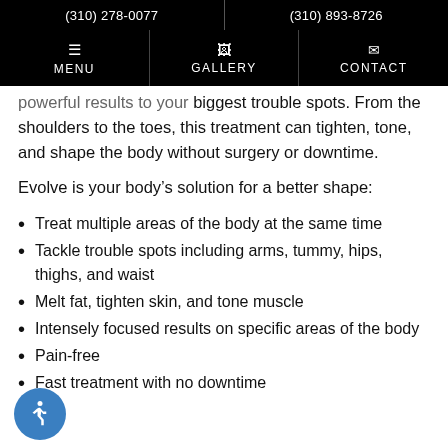(310) 278-0077   (310) 893-8726
MENU   GALLERY   CONTACT
powerful results to your biggest trouble spots. From the shoulders to the toes, this treatment can tighten, tone, and shape the body without surgery or downtime.
Evolve is your body’s solution for a better shape:
Treat multiple areas of the body at the same time
Tackle trouble spots including arms, tummy, hips, thighs, and waist
Melt fat, tighten skin, and tone muscle
Intensely focused results on specific areas of the body
Pain-free
Fast treatment with no downtime